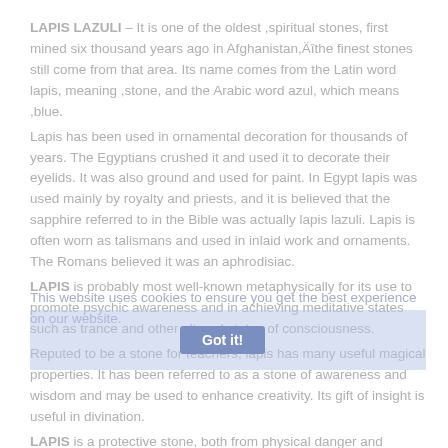LAPIS LAZULI – It is one of the oldest ,spiritual stones, first mined six thousand years ago in Afghanistan,Äîthe finest stones still come from that area. Its name comes from the Latin word lapis, meaning ,stone, and the Arabic word azul, which means ,blue. Lapis has been used in ornamental decoration for thousands of years. The Egyptians crushed it and used it to decorate their eyelids. It was also ground and used for paint. In Egypt lapis was used mainly by royalty and priests, and it is believed that the sapphire referred to in the Bible was actually lapis lazuli. Lapis is often worn as talismans and used in inlaid work and ornaments. The Romans believed it was an aphrodisiac. LAPIS is probably most well-known metaphysically for its use to promote psychic awareness and in achieving meditative states such as trance and other altered states of consciousness. Reputed to be a stone for teachers, lapis has many useful magical properties. It has been referred to as a stone of awareness and wisdom and may be used to enhance creativity. Its gift of insight is useful in divination. LAPIS is a protective stone, both from physical danger and psychic attacks.